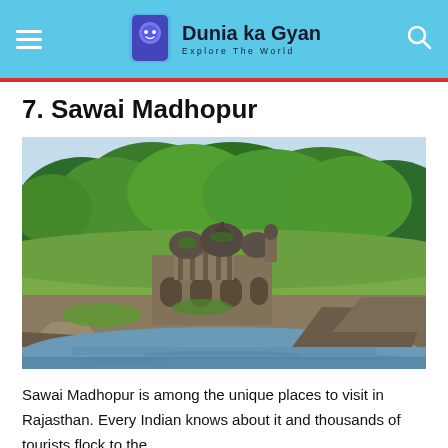Dunia ka Gyan — Explore The World
7. Sawai Madhopur
[Figure (photo): Photograph of an ancient stone monument/temple with domed roofs surrounded by lush green forest and a calm lake/river in the foreground with rocky outcrops — Sawai Madhopur, Rajasthan, India]
Sawai Madhopur is among the unique places to visit in Rajasthan. Every Indian knows about it and thousands of tourists flock to the